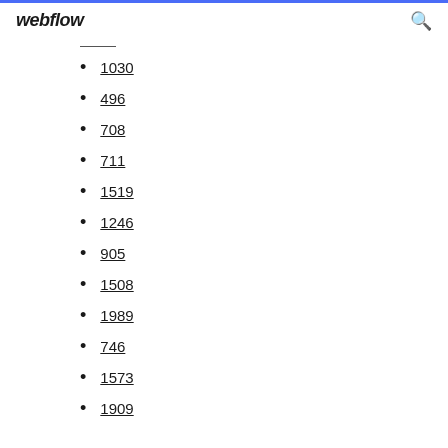webflow
1030
496
708
711
1519
1246
905
1508
1989
746
1573
1909